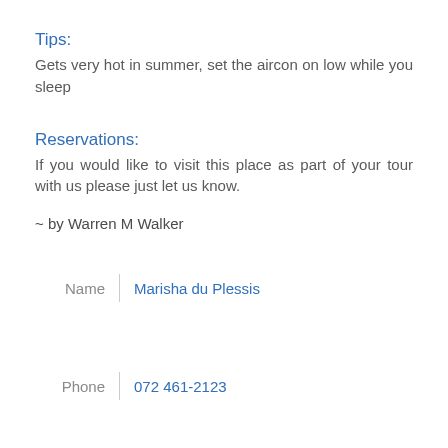Tips:
Gets very hot in summer, set the aircon on low while you sleep
Reservations:
If you would like to visit this place as part of your tour with us please just let us know.
~ by Warren M Walker
| Label | Value |
| --- | --- |
| Name | Marisha du Plessis |
| Phone | 072 461-2123 |